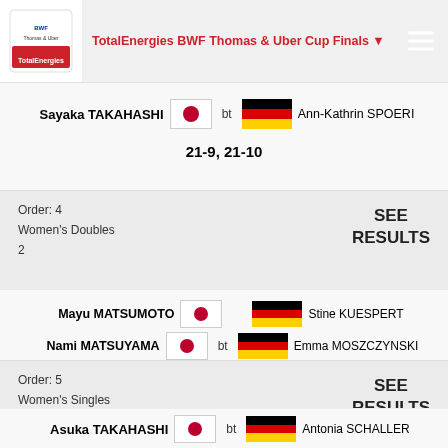TotalEnergies BWF Thomas & Uber Cup Finals
Sayaka TAKAHASHI bt Ann-Kathrin SPOERI
21-9, 21-10
Order: 4
Women's Doubles
2
SEE RESULTS
Mayu MATSUMOTO / Nami MATSUYAMA bt Stine KUESPERT / Emma MOSZCZYNSKI
21-15, 21-15
Order: 5
Women's Singles
2
SEE RESULTS
Asuka TAKAHASHI bt Antonia SCHALLER
21-6, 21-15